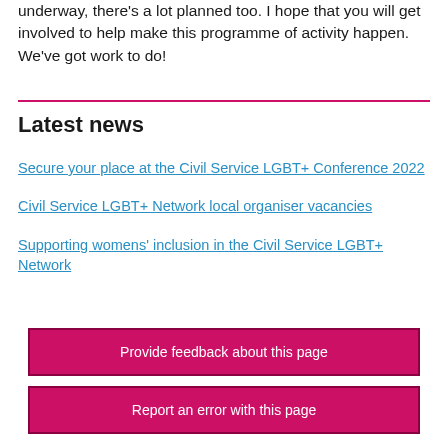underway, there's a lot planned too. I hope that you will get involved to help make this programme of activity happen. We've got work to do!
Latest news
Secure your place at the Civil Service LGBT+ Conference 2022
Civil Service LGBT+ Network local organiser vacancies
Supporting womens' inclusion in the Civil Service LGBT+ Network
Provide feedback about this page
Report an error with this page